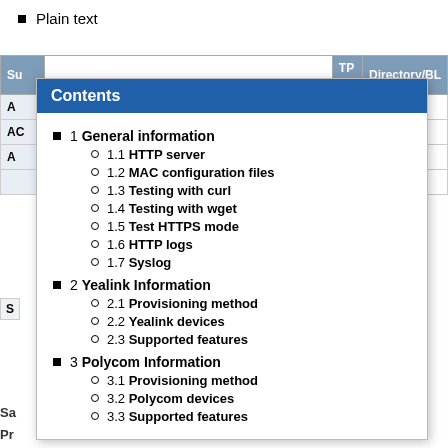Plain text
[Figure (other): Partially visible background table with columns TP, Directory/BL and rows showing N/A values]
[Figure (other): Table of Contents popup overlay showing nested list: 1 General information (1.1 HTTP server, 1.2 MAC configuration files, 1.3 Testing with curl, 1.4 Testing with wget, 1.5 Test HTTPS mode, 1.6 HTTP logs, 1.7 Syslog), 2 Yealink Information (2.1 Provisioning method, 2.2 Yealink devices, 2.3 Supported features), 3 Polycom Information (3.1 Provisioning method, 3.2 Polycom devices, 3.3 Supported features)]